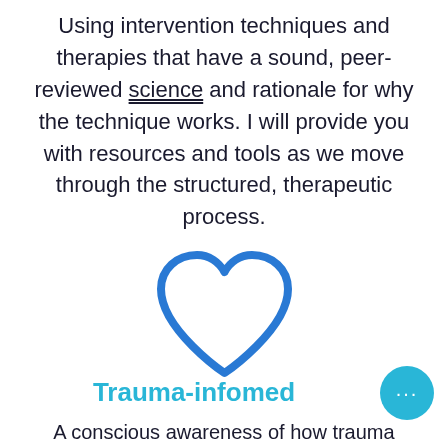Using intervention techniques and therapies that have a sound, peer-reviewed science and rationale for why the technique works. I will provide you with resources and tools as we move through the structured, therapeutic process.
[Figure (illustration): A blue outline heart icon centered on the page]
Trauma-infomed
A conscious awareness of how trauma